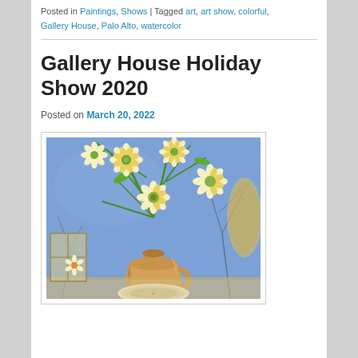Posted in Paintings, Shows | Tagged art, art show, colorful, Gallery House, Palo Alto, watercolor
Gallery House Holiday Show 2020
Posted on March 20, 2022
[Figure (illustration): Watercolor painting of yellow daisies/sunflowers in a brown clay vase on a blue background, with a decorative plate and window visible, green stems and leaves, and bare tree branches]